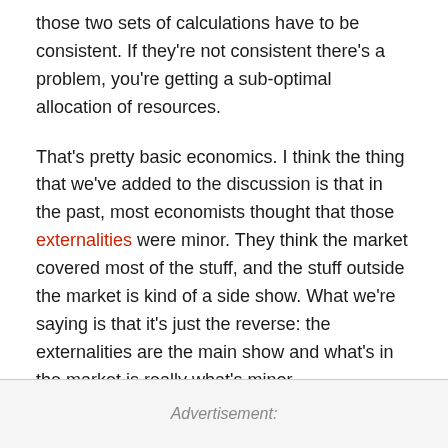those two sets of calculations have to be consistent. If they're not consistent there's a problem, you're getting a sub-optimal allocation of resources.
That's pretty basic economics. I think the thing that we've added to the discussion is that in the past, most economists thought that those externalities were minor. They think the market covered most of the stuff, and the stuff outside the market is kind of a side show. What we're saying is that it's just the reverse: the externalities are the main show and what's in the market is really what's minor.
Advertisement: